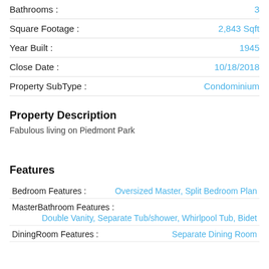Bathrooms : 3
Square Footage : 2,843 Sqft
Year Built : 1945
Close Date : 10/18/2018
Property SubType : Condominium
Property Description
Fabulous living on Piedmont Park
Features
Bedroom Features : Oversized Master, Split Bedroom Plan
MasterBathroom Features : Double Vanity, Separate Tub/shower, Whirlpool Tub, Bidet
DiningRoom Features : Separate Dining Room